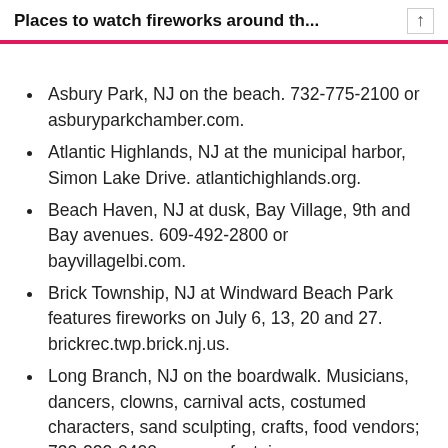Places to watch fireworks around th...
Asbury Park, NJ on the beach. 732-775-2100 or asburyparkchamber.com.
Atlantic Highlands, NJ at the municipal harbor, Simon Lake Drive. atlantichighlands.org.
Beach Haven, NJ at dusk, Bay Village, 9th and Bay avenues. 609-492-2800 or bayvillagelbi.com.
Brick Township, NJ at Windward Beach Park features fireworks on July 6, 13, 20 and 27. brickrec.twp.brick.nj.us.
Long Branch, NJ on the boardwalk. Musicians, dancers, clowns, carnival acts, costumed characters, sand sculpting, crafts, food vendors; 732-222-0400 or oceanfestnj.com.
Point Pleasant Beach, NJ on the beach (partial)